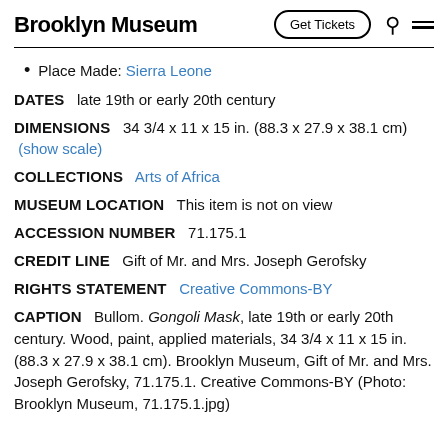Brooklyn Museum | Get Tickets
Place Made: Sierra Leone
DATES   late 19th or early 20th century
DIMENSIONS   34 3/4 x 11 x 15 in. (88.3 x 27.9 x 38.1 cm)
(show scale)
COLLECTIONS   Arts of Africa
MUSEUM LOCATION   This item is not on view
ACCESSION NUMBER   71.175.1
CREDIT LINE   Gift of Mr. and Mrs. Joseph Gerofsky
RIGHTS STATEMENT   Creative Commons-BY
CAPTION   Bullom. Gongoli Mask, late 19th or early 20th century. Wood, paint, applied materials, 34 3/4 x 11 x 15 in. (88.3 x 27.9 x 38.1 cm). Brooklyn Museum, Gift of Mr. and Mrs. Joseph Gerofsky, 71.175.1. Creative Commons-BY (Photo: Brooklyn Museum, 71.175.1.jpg)